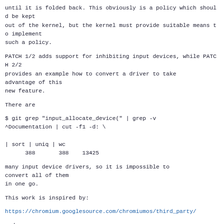until it is folded back. This obviously is a policy which should be kept
out of the kernel, but the kernel must provide suitable means to implement
such a policy.
PATCH 1/2 adds support for inhibiting input devices, while PATCH 2/2
provides an example how to convert a driver to take advantage of this
new feature.
There are
$ git grep "input_allocate_device(" | grep -v
^Documentation | cut -f1 -d: \

| sort | uniq | wc
      388       388    13425
many input device drivers, so it is impossible to convert all of them
in one go.
This work is inspired by:
https://chromium.googlesource.com/chromiumos/third_party/
and